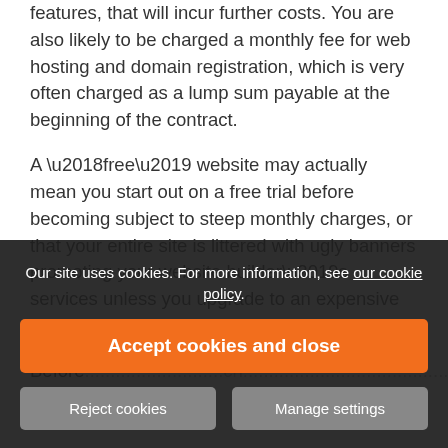features, that will incur further costs. You are also likely to be charged a monthly fee for web hosting and domain registration, which is very often charged as a lump sum payable at the beginning of the contract.
A ‘free’ website may actually mean you start out on a free trial before becoming subject to steep monthly charges, or that your entire site is littered with ugly banners promoting your website builder’s services unless you upgrade to an expensive hosting package.
Before... ch... ost
Our site uses cookies. For more information, see our cookie policy.
Accept cookies and close
Reject cookies
Manage settings